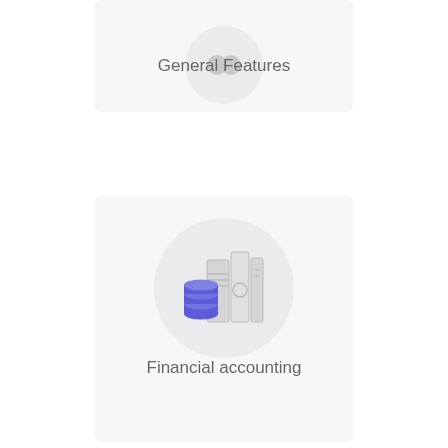[Figure (illustration): Card with circular icon for General Features (partially cropped at top)]
General Features
[Figure (illustration): Card with circular icon showing books/binders and a blue stacked-coins/database icon for Financial accounting]
Financial accounting